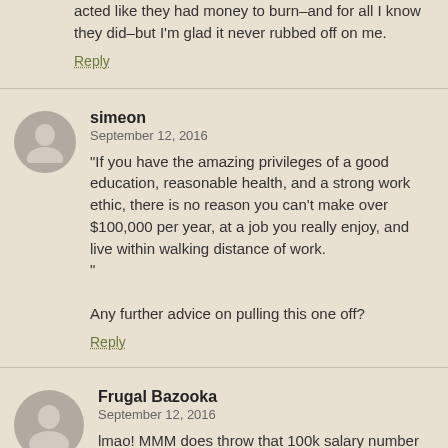acted like they had money to burn–and for all I know they did–but I'm glad it never rubbed off on me.
Reply
simeon
September 12, 2016
"If you have the amazing privileges of a good education, reasonable health, and a strong work ethic, there is no reason you can't make over $100,000 per year, at a job you really enjoy, and live within walking distance of work."

Any further advice on pulling this one off?
Reply
Frugal Bazooka
September 12, 2016
lmao! MMM does throw that 100k salary number out rather glibly doesn't he? It so reminds me of the scene in LOST IN AMERICA when Albert Brooks and wife have lost their "nest egg" and end up looking for jobs in Bumftok, Timbuktu. Brooks goes to the local